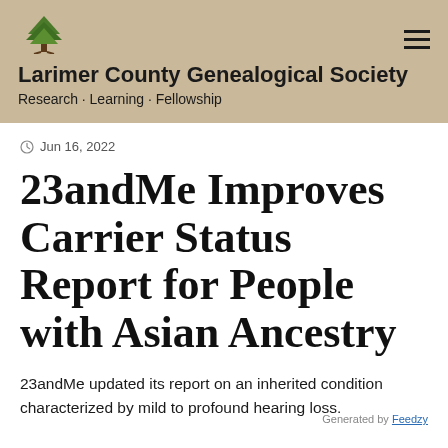[Figure (logo): Tree logo for Larimer County Genealogical Society]
Larimer County Genealogical Society
Research · Learning · Fellowship
Jun 16, 2022
23andMe Improves Carrier Status Report for People with Asian Ancestry
23andMe updated its report on an inherited condition characterized by mild to profound hearing loss.